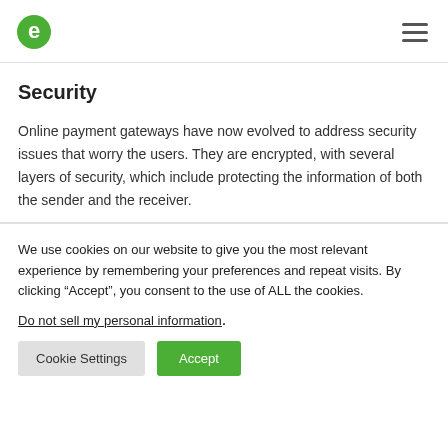e [logo] [hamburger menu]
Security
Online payment gateways have now evolved to address security issues that worry the users. They are encrypted, with several layers of security, which include protecting the information of both the sender and the receiver.
We use cookies on our website to give you the most relevant experience by remembering your preferences and repeat visits. By clicking “Accept”, you consent to the use of ALL the cookies.
Do not sell my personal information.